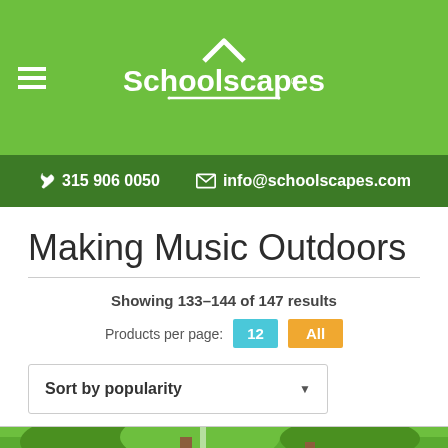Schoolscapes
315 906 0050   info@schoolscapes.com
Making Music Outdoors
Showing 133–144 of 147 results
Products per page:  12   All
Sort by popularity
[Figure (photo): Green outdoor photo at bottom of page]